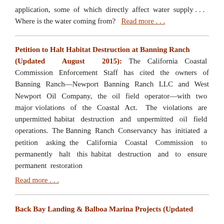application, some of which directly affect water supply . . . Where is the water coming from?  Read more . . .
Petition to Halt Habitat Destruction at Banning Ranch (Updated August 2015): The California Coastal Commission Enforcement Staff has cited the owners of Banning Ranch—Newport Banning Ranch LLC and West Newport Oil Company, the oil field operator—with two major violations of the Coastal Act. The violations are unpermitted habitat destruction and unpermitted oil field operations. The Banning Ranch Conservancy has initiated a petition asking the California Coastal Commission to permanently halt this habitat destruction and to ensure permanent restoration Read more . . .
Back Bay Landing & Balboa Marina Projects (Updated